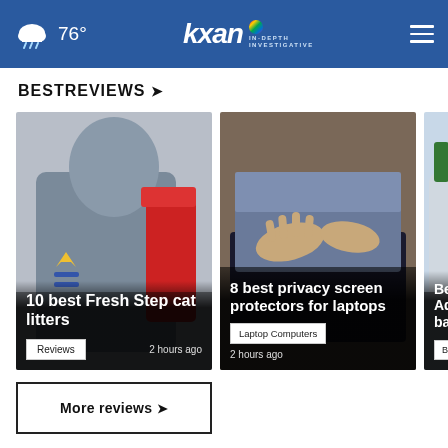76° KXAN IN-DEPTH INVESTIGATIVE
BESTREVIEWS ❯
[Figure (photo): Child in gray hoodie with crown patch holding red object - cat litter article thumbnail]
10 best Fresh Step cat litters
Reviews  2 hours ago
[Figure (photo): Hands placing privacy screen on laptop - laptop privacy screen article thumbnail]
8 best privacy screen protectors for laptops
Laptop Computers  2 hours ago
[Figure (photo): Backpack with supplies - best adventure backpacks article thumbnail (partially visible)]
Best Ad... backpa...
Backpacks
More reviews ❯